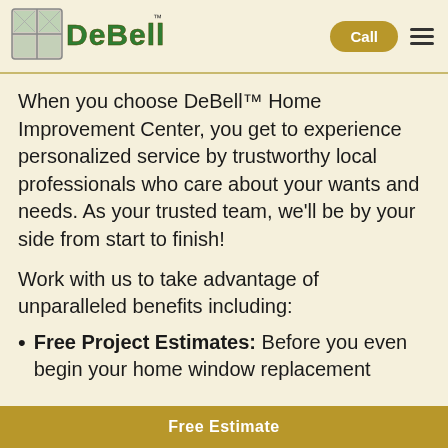[Figure (logo): DeBell Home Improvement Center logo with window pane graphic and green 3D lettering with TM mark]
When you choose DeBell™ Home Improvement Center, you get to experience personalized service by trustworthy local professionals who care about your wants and needs. As your trusted team, we'll be by your side from start to finish!
Work with us to take advantage of unparalleled benefits including:
Free Project Estimates: Before you even begin your home window replacement
Free Estimate